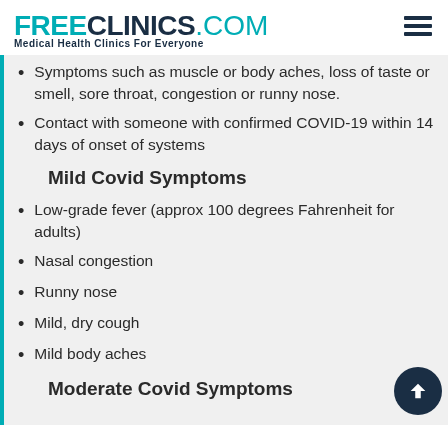FREE CLINICS.COM — Medical Health Clinics For Everyone
Symptoms such as muscle or body aches, loss of taste or smell, sore throat, congestion or runny nose.
Contact with someone with confirmed COVID-19 within 14 days of onset of systems
Mild Covid Symptoms
Low-grade fever (approx 100 degrees Fahrenheit for adults)
Nasal congestion
Runny nose
Mild, dry cough
Mild body aches
Moderate Covid Symptoms